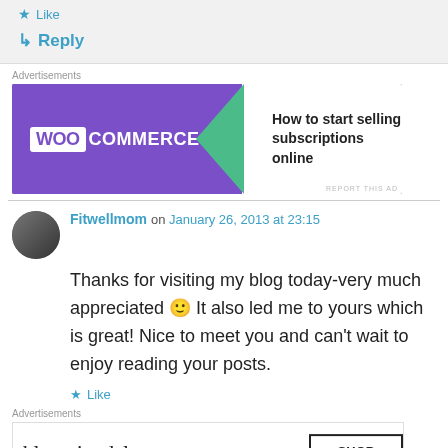★ Like
↳ Reply
Advertisements
[Figure (screenshot): WooCommerce advertisement banner - purple left side with WooCommerce logo, white right side with text 'How to start selling subscriptions online', green arrow/triangle in middle]
Fitwellmom on January 26, 2013 at 23:15
Thanks for visiting my blog today-very much appreciated 🙂 It also led me to yours which is great! Nice to meet you and can't wait to enjoy reading your posts.
★ Like
Advertisements
[Figure (screenshot): Bloomingdales advertisement banner - white background with bloomingdales logo, tagline 'View Today's Top Deals!', woman with hat image, and 'SHOP NOW >' button]